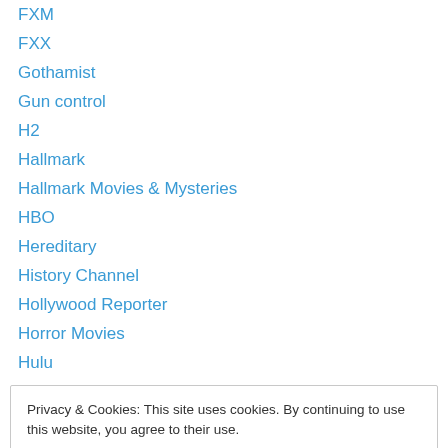FXM
FXX
Gothamist
Gun control
H2
Hallmark
Hallmark Movies & Mysteries
HBO
Hereditary
History Channel
Hollywood Reporter
Horror Movies
Hulu
Privacy & Cookies: This site uses cookies. By continuing to use this website, you agree to their use. To find out more, including how to control cookies, see here: Cookie Policy
Marathon